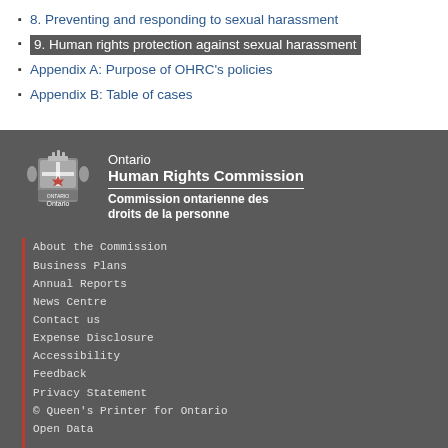8. Preventing and responding to sexual harassment
9. Human rights protection against sexual harassment
Appendix A: Purpose of OHRC's policies
Appendix B: Table of cases
[Figure (logo): Ontario Human Rights Commission logo with coat of arms, bilingual name in English and French]
About the Commission
Business Plans
Annual Reports
News Centre
Contact us
Expense Disclosure
Accessibility
Feedback
Privacy Statement
© Queen's Printer for Ontario
Open Data